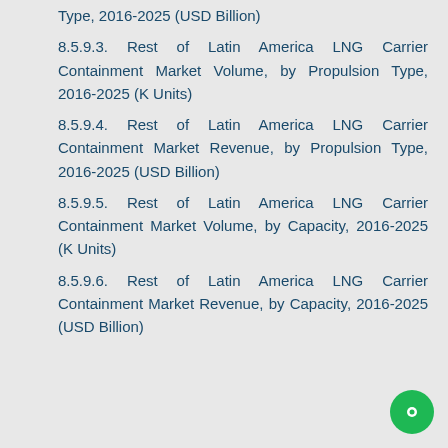Type, 2016-2025 (USD Billion)
8.5.9.3. Rest of Latin America LNG Carrier Containment Market Volume, by Propulsion Type, 2016-2025 (K Units)
8.5.9.4. Rest of Latin America LNG Carrier Containment Market Revenue, by Propulsion Type, 2016-2025 (USD Billion)
8.5.9.5. Rest of Latin America LNG Carrier Containment Market Volume, by Capacity, 2016-2025 (K Units)
8.5.9.6. Rest of Latin America LNG Carrier Containment Market Revenue, by Capacity, 2016-2025 (USD Billion)